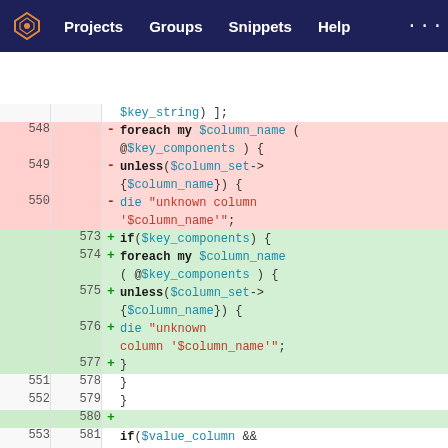Projects  Groups  Snippets  Help  ...
[Figure (screenshot): GitLab diff view showing code changes in Perl. Deleted lines 548-550 show a foreach/unless/die block. Added lines 573-577 show a refactored if/foreach/unless/die/} block. Context lines 551-552/578-579 show closing braces, line 580 is an empty added line, and lines 553/581 show an if($value_column &&) statement.]